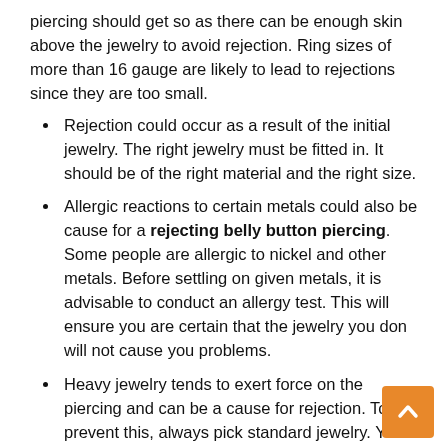piercing should get so as there can be enough skin above the jewelry to avoid rejection. Ring sizes of more than 16 gauge are likely to lead to rejections since they are too small.
Rejection could occur as a result of the initial jewelry. The right jewelry must be fitted in. It should be of the right material and the right size.
Allergic reactions to certain metals could also be cause for a rejecting belly button piercing. Some people are allergic to nickel and other metals. Before settling on given metals, it is advisable to conduct an allergy test. This will ensure you are certain that the jewelry you don will not cause you problems.
Heavy jewelry tends to exert force on the piercing and can be a cause for rejection. To prevent this, always pick standard jewelry. Your piercer should be in a position to help you with this.
When the rejection is noticed too late, it leaves you with little to do to control it. This makes it important to be in a position to recognize and act on the rejection and migration. This will help prevent excessive scarring and too large a hole that would be